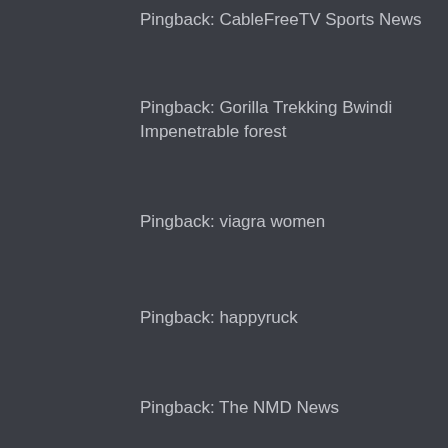Pingback: CableFreeTV Sports News
Pingback: Gorilla Trekking Bwindi Impenetrable forest
Pingback: viagra women
Pingback: happyruck
Pingback: The NMD News